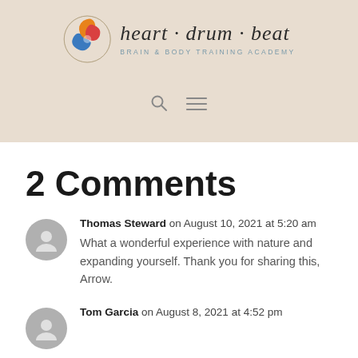[Figure (logo): Heart Drum Beat Brain & Body Training Academy logo with colorful swirl emblem and stylized text]
[Figure (other): Navigation bar icons: search magnifying glass and hamburger menu]
2 Comments
Thomas Steward on August 10, 2021 at 5:20 am
What a wonderful experience with nature and expanding yourself. Thank you for sharing this, Arrow.
Tom Garcia on August 8, 2021 at 4:52 pm